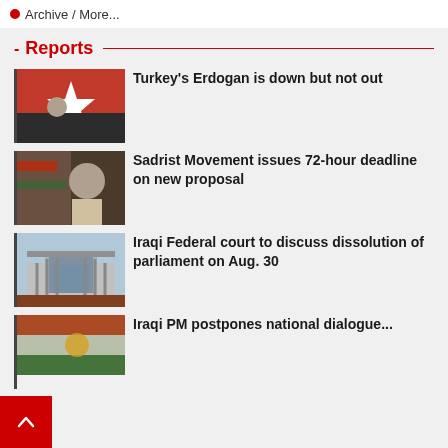Archive / More...
Reports
[Figure (photo): Photo of Erdogan speaking in front of Turkish flag with white star]
Turkey's Erdogan is down but not out
[Figure (photo): Photo of Sadrist Movement supporters holding portrait of Muqtada al-Sadr]
Sadrist Movement issues 72-hour deadline on new proposal
[Figure (photo): Photo of Iraqi Federal court building exterior]
Iraqi Federal court to discuss dissolution of parliament on Aug. 30
[Figure (photo): Photo showing Iraqi flags and celebration]
Iraqi PM postpones national dialogue...